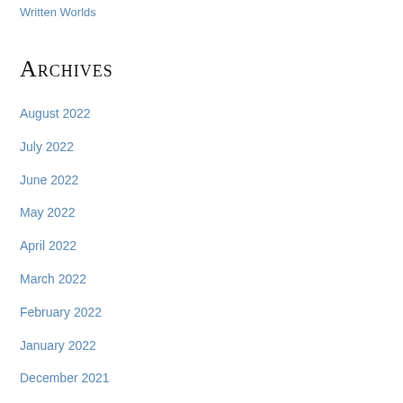Written Worlds
Archives
August 2022
July 2022
June 2022
May 2022
April 2022
March 2022
February 2022
January 2022
December 2021
November 2021
October 2021
September 2021